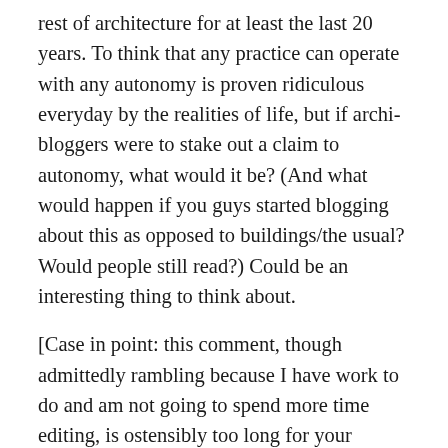rest of architecture for at least the last 20 years. To think that any practice can operate with any autonomy is proven ridiculous everyday by the realities of life, but if archi-bloggers were to stake out a claim to autonomy, what would it be? (And what would happen if you guys started blogging about this as opposed to buildings/the usual? Would people still read?) Could be an interesting thing to think about.
[Case in point: this comment, though admittedly rambling because I have work to do and am not going to spend more time editing, is ostensibly too long for your comment section! Should I just cut out a few ideas? Kidding, I'll split it, but you get the